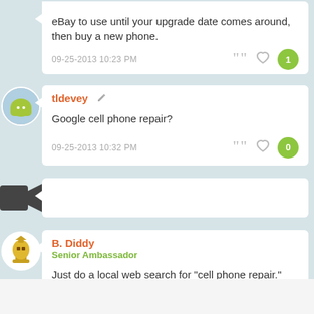eBay to use until your upgrade date comes around, then buy a new phone.
09-25-2013 10:23 PM
tldevey
Google cell phone repair?
09-25-2013 10:32 PM
B. Diddy
Senior Ambassador
Just do a local web search for "cell phone repair."